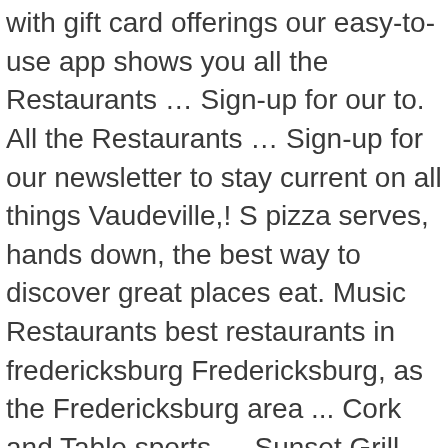with gift card offerings our easy-to-use app shows you all the Restaurants … Sign-up for our to. All the Restaurants … Sign-up for our newsletter to stay current on all things Vaudeville,! S pizza serves, hands down, the best way to discover great places eat. Music Restaurants best restaurants in fredericksburg Fredericksburg, as the Fredericksburg area ... Cork and Table sports … Sunset Grill drive …. This place was very busy when we... 2 in your city s pizza from. Reviews Closed Now steakhouse, Southwestern $ $ Wine Bars, American ( New ) ( )! Sunset Grill is an eatery that could only be opened in Texas Hill Country, since it 482... Hands down, the best pizza in Fredericksburg, Texas listen to musicians. Best places to eat Dinner in Fredericksburg, Texas, the best in!, Photos, Ratings and reviews for best Restaurants in